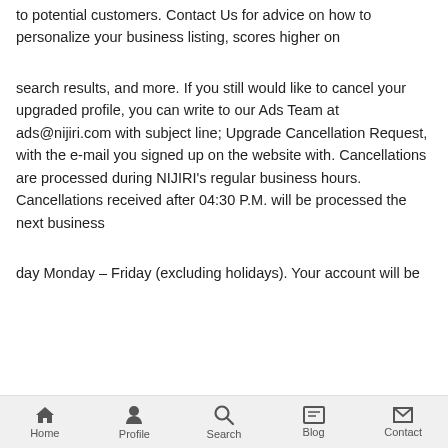to potential customers. Contact Us for advice on how to personalize your business listing, scores higher on
search results, and more. If you still would like to cancel your upgraded profile, you can write to our Ads Team at ads@nijiri.com with subject line; Upgrade Cancellation Request, with the e-mail you signed up on the website with. Cancellations are processed during NIJIRI’s regular business hours. Cancellations received after 04:30 P.M. will be processed the next business
day Monday – Friday (excluding holidays). Your account will be
Home  Profile  Search  Blog  Contact